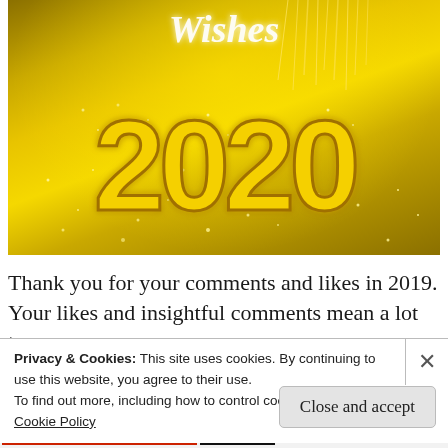[Figure (photo): New Year 2020 golden greeting image with '2020' in large gold 3D letters and 'Wishes' text at top on a golden background with sparkles and streamers]
Thank you for your comments and likes in 2019. Your likes and insightful comments mean a lot to me.
Privacy & Cookies: This site uses cookies. By continuing to use this website, you agree to their use.
To find out more, including how to control cookies, see here: Cookie Policy
Close and accept